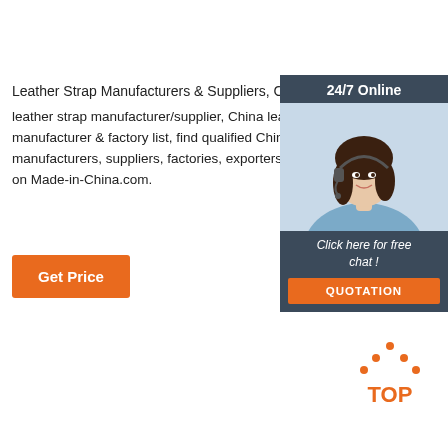Leather Strap Manufacturers & Suppliers, China Leather
leather strap manufacturer/supplier, China leather strap manufacturer & factory list, find qualified Chinese leather manufacturers, suppliers, factories, exporters & wholesalers on Made-in-China.com.
[Figure (screenshot): Orange 'Get Price' button]
[Figure (infographic): 24/7 Online chat widget with photo of woman wearing headset, 'Click here for free chat!' text, and orange QUOTATION button]
[Figure (logo): Orange dotted triangle 'TOP' logo in bottom right]